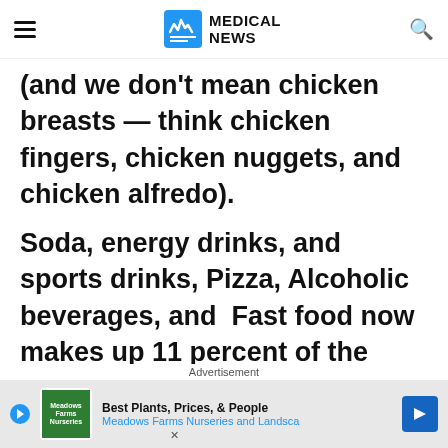MEDICAL NEWS
(and we don't mean chicken breasts — think chicken fingers, chicken nuggets, and chicken alfredo).
Soda, energy drinks, and sports drinks, Pizza, Alcoholic beverages, and  Fast food now makes up 11 percent of the average American's energy intake. We now drink 350 percent more soft drinks than we did
Advertisement
[Figure (other): Advertisement banner for Meadows Farms Nurseries and Landscape with logo, play button, text 'Best Plants, Prices, & People', and blue arrow icon]